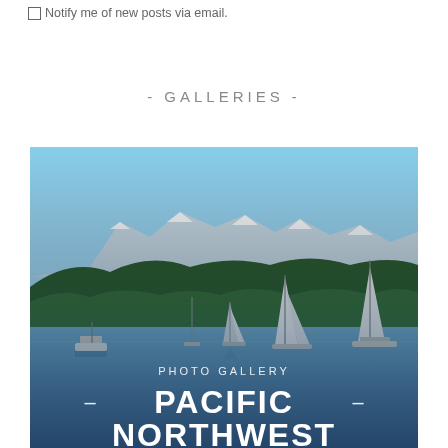☐ Notify me of new posts via email.
- GALLERIES -
[Figure (photo): Sailboats anchored on calm blue water with forested green hills and snow-capped mountains in the background under a clear blue sky. Text overlay reads 'PHOTO GALLERY' and '– PACIFIC NORTHWEST –']